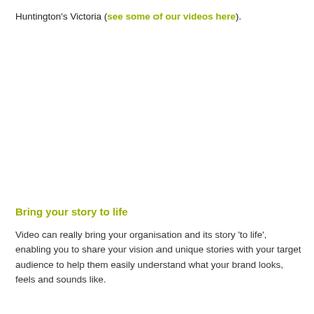Huntington's Victoria (see some of our videos here).
Bring your story to life
Video can really bring your organisation and its story 'to life', enabling you to share your vision and unique stories with your target audience to help them easily understand what your brand looks, feels and sounds like.